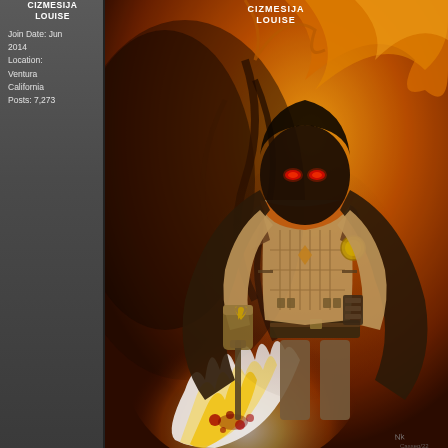CIZMESIJA
LOUISE
Join Date: Jun 2014
Location: Ventura California
Posts: 7,273
[Figure (illustration): Comic book illustration of a hooded dark figure with glowing red eyes, wearing a brown cloak and tactical gear, standing amid fire and flames. The character holds a weapon and stands over a defeated enemy. Fiery orange and yellow background. Artist signature visible in bottom right corner.]